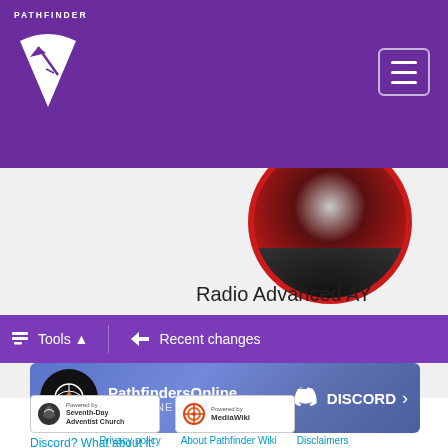[Figure (logo): Pathfinder logo with shield and PATHFINDER text on purple header bar]
[Figure (photo): Radio Advanced AY Honor badge image - circular badge with red border visible at top]
Radio Advanced AY Honor.png
[Figure (infographic): Purple toolbar with briefcase Tools dropdown and rewind Recent changes icons]
[Figure (infographic): PathfindersOnline Discord banner showing logo, PathfindersOnline text, 50 ONLINE, and Discord logo with arrow]
Discord? What about it!
[Figure (logo): Powered by Seventh-Day Adventist Church badge]
[Figure (logo): Powered by MediaWiki badge]
Privacy policy   About Pathfinder Wiki   Disclaimers